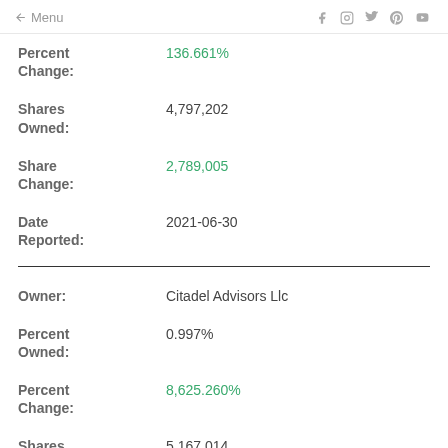← Menu  f  Instagram  Twitter  Pinterest  YouTube
Percent Change: 136.661%
Shares Owned: 4,797,202
Share Change: 2,789,005
Date Reported: 2021-06-30
Owner: Citadel Advisors Llc
Percent Owned: 0.997%
Percent Change: 8,625.260%
Shares Owned: 5,167,014